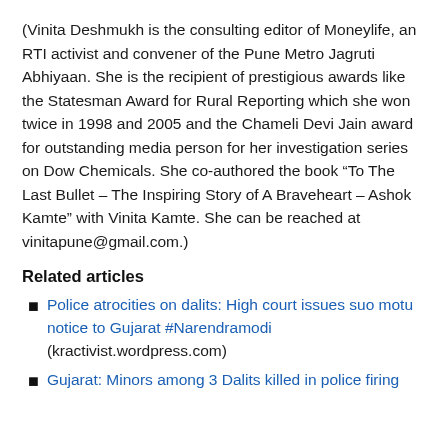(Vinita Deshmukh is the consulting editor of Moneylife, an RTI activist and convener of the Pune Metro Jagruti Abhiyaan. She is the recipient of prestigious awards like the Statesman Award for Rural Reporting which she won twice in 1998 and 2005 and the Chameli Devi Jain award for outstanding media person for her investigation series on Dow Chemicals. She co-authored the book “To The Last Bullet – The Inspiring Story of A Braveheart – Ashok Kamte” with Vinita Kamte. She can be reached at vinitapune@gmail.com.)
Related articles
Police atrocities on dalits: High court issues suo motu notice to Gujarat #Narendramodi (kractivist.wordpress.com)
Gujarat: Minors among 3 Dalits killed in police firing